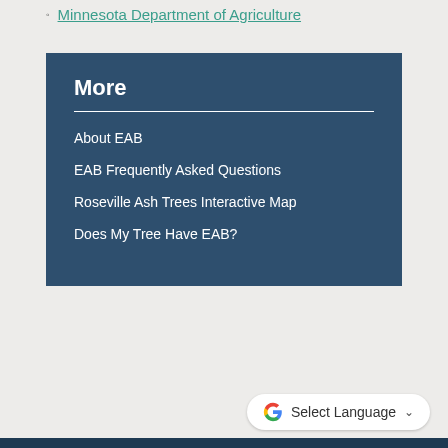Minnesota Department of Agriculture
More
About EAB
EAB Frequently Asked Questions
Roseville Ash Trees Interactive Map
Does My Tree Have EAB?
Select Language